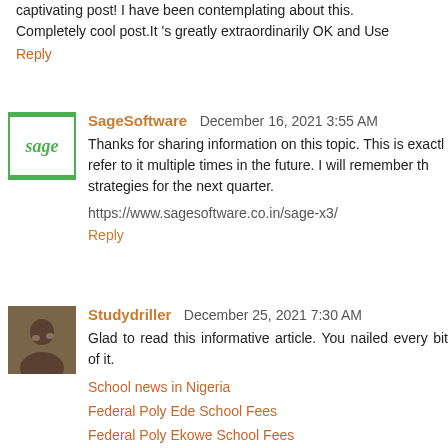captivating post! I have been contemplating about this. Completely cool post.It 's greatly extraordinarily OK and Use
Reply
SageSoftware  December 16, 2021 3:55 AM
Thanks for sharing information on this topic. This is exactl refer to it multiple times in the future. I will remember th strategies for the next quarter.
https://www.sagesoftware.co.in/sage-x3/
Reply
Studydriller  December 25, 2021 7:30 AM
Glad to read this informative article. You nailed every bit of it.
School news in Nigeria
Federal Poly Ede School Fees
Federal Poly Ekowe School Fees
AKSU School Fees
Federal Poly Bida School Fees